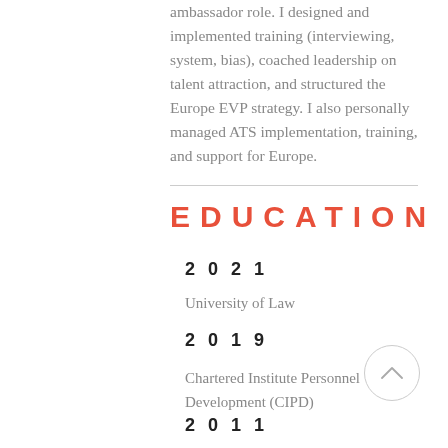ambassador role. I designed and implemented training (interviewing, system, bias), coached leadership on talent attraction, and structured the Europe EVP strategy. I also personally managed ATS implementation, training, and support for Europe.
EDUCATION
2021
University of Law
2019
Chartered Institute Personnel Development (CIPD)
2011